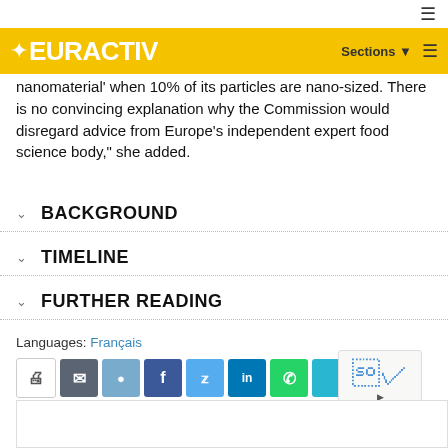EURACTIV — Sections
nanomaterial' when 10% of its particles are nano-sized. There is no convincing explanation why the Commission would disregard advice from Europe's independent expert food science body," she added.
BACKGROUND
TIMELINE
FURTHER READING
Languages: Français